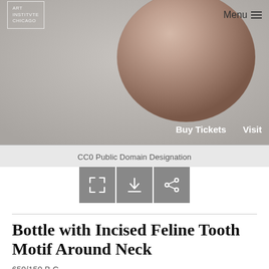[Figure (screenshot): Art Institute of Chicago website screenshot showing a ceramic bottle artifact photographed against a grey background, with navigation bar showing logo, Menu button, Buy Tickets and Visit links]
CC0 Public Domain Designation
[Figure (infographic): Three grey icon buttons: expand/fullscreen icon, download icon, and share icon]
Bottle with Incised Feline Tooth Motif Around Neck
650/150 B.C.
Paracas
Ica Valley, south coast, Peru